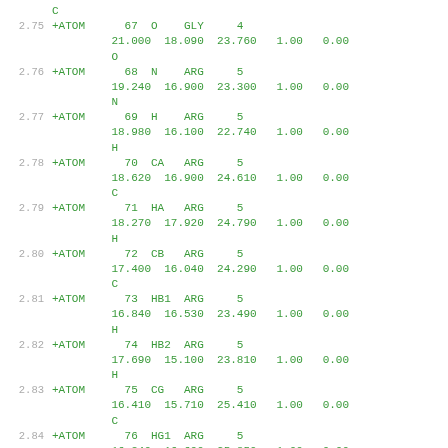C
2.75  +ATOM     67  O    GLY     4
         21.000  18.090  23.760   1.00   0.00
         O
2.76  +ATOM     68  N    ARG     5
         19.240  16.900  23.300   1.00   0.00
         N
2.77  +ATOM     69  H    ARG     5
         18.980  16.100  22.740   1.00   0.00
         H
2.78  +ATOM     70  CA   ARG     5
         18.620  16.900  24.610   1.00   0.00
         C
2.79  +ATOM     71  HA   ARG     5
         18.270  17.920  24.790   1.00   0.00
         H
2.80  +ATOM     72  CB   ARG     5
         17.400  16.040  24.290   1.00   0.00
         C
2.81  +ATOM     73  HB1  ARG     5
         16.840  16.530  23.490   1.00   0.00
         H
2.82  +ATOM     74  HB2  ARG     5
         17.690  15.100  23.810   1.00   0.00
         H
2.83  +ATOM     75  CG   ARG     5
         16.410  15.710  25.410   1.00   0.00
         C
2.84  +ATOM     76  HG1  ARG     5
         16.240  16.690  25.850   1.00   0.00
         H